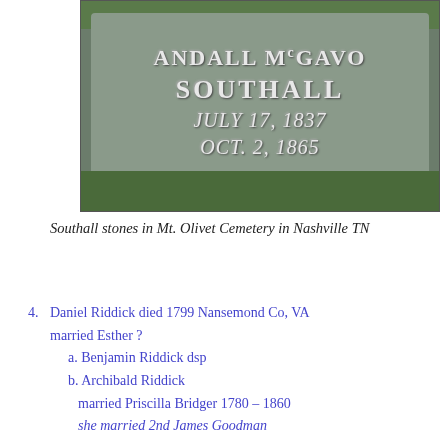[Figure (photo): Photograph of a gravestone for Randall McGavock Southall, engraved with ANDALL McGAVO SOUTHALL JULY 17, 1837 OCT. 2, 1865, set among grass and soil.]
Southall stones in Mt. Olivet Cemetery in Nashville TN
4. Daniel Riddick died 1799 Nansemond Co, VA married Esther ?
   a. Benjamin Riddick dsp
   b. Archibald Riddick
      married Priscilla Bridger 1780 – 1860
      she married 2nd James Goodman